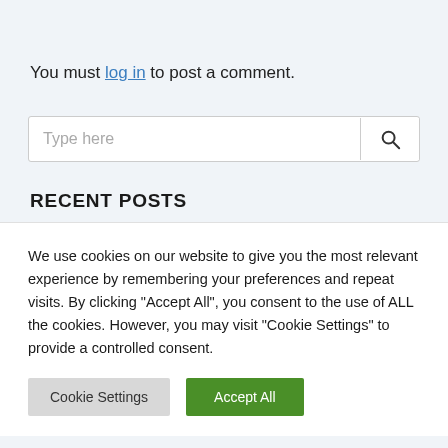You must log in to post a comment.
[Figure (other): Search input box with placeholder 'Type here' and a search icon button on the right]
RECENT POSTS
We use cookies on our website to give you the most relevant experience by remembering your preferences and repeat visits. By clicking "Accept All", you consent to the use of ALL the cookies. However, you may visit "Cookie Settings" to provide a controlled consent.
Cookie Settings | Accept All